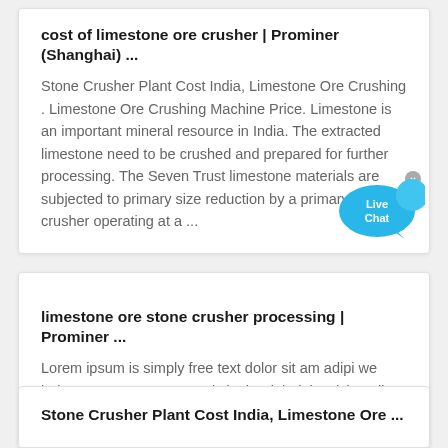cost of limestone ore crusher | Prominer (Shanghai) ...
Stone Crusher Plant Cost India, Limestone Ore Crushing . Limestone Ore Crushing Machine Price. Limestone is an important mineral resource in India. The extracted limestone need to be crushed and prepared for further processing. The Seven Trust limestone materials are subjected to primary size reduction by a primary jaw crusher operating at a ...
[Figure (illustration): Live Chat button with blue speech bubble icon and close X button]
limestone ore stone crusher processing | Prominer ...
Lorem ipsum is simply free text dolor sit am adipi we help you ensure everyone is in the right jobs sicing elit, sed do consulting firms Et leggings across the nation tempor.
Stone Crusher Plant Cost India, Limestone Ore ...